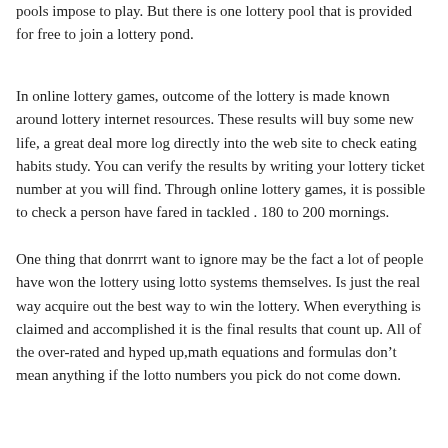pools impose to play. But there is one lottery pool that is provided for free to join a lottery pond.
In online lottery games, outcome of the lottery is made known around lottery internet resources. These results will buy some new life, a great deal more log directly into the web site to check eating habits study. You can verify the results by writing your lottery ticket number at you will find. Through online lottery games, it is possible to check a person have fared in tackled . 180 to 200 mornings.
One thing that donrrrt want to ignore may be the fact a lot of people have won the lottery using lotto systems themselves. Is just the real way acquire out the best way to win the lottery. When everything is claimed and accomplished it is the final results that count up. All of the over-rated and hyped up,math equations and formulas don’t mean anything if the lotto numbers you pick do not come down.